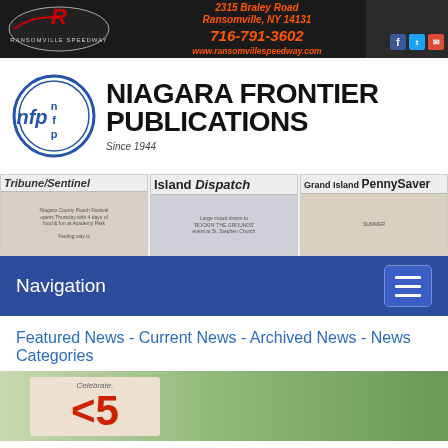[Figure (screenshot): Ransomville Speedway banner with logo, address 2315 Braley Road Ransomville, NY 14131, phone 716-791-3602, website www.ransomvillespeedway.com, race car photo, and social media icons]
[Figure (logo): Niagara Frontier Publications logo: NFP circle logo with 'Since 1944' and large bold text NIAGARA FRONTIER PUBLICATIONS]
[Figure (screenshot): Three publication thumbnails: Tribune/Sentinel, Island Dispatch, and Grand Island PennySaver newspaper front pages]
Navigation
Featured News - Current News - Archived News - News Categories
[Figure (photo): Outdoor photo with a sign reading Celebrate. <5, with a person and green trees in background]